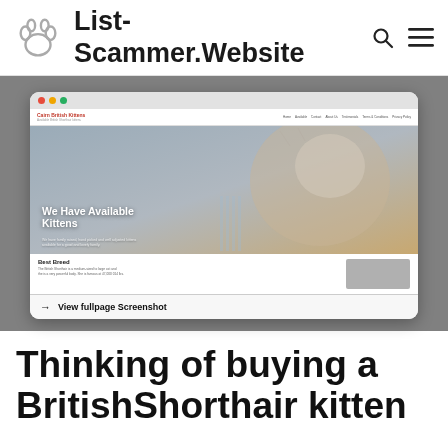List-Scammer.Website
[Figure (screenshot): Browser window screenshot of a kitten scam website showing 'We Have Available Kittens' hero image with a British Shorthair kitten, navigation links, and 'View fullpage Screenshot' link at bottom]
Thinking of buying a BritishShorthair kitten